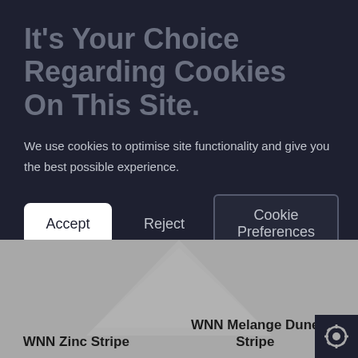It's Your Choice Regarding Cookies On This Site.
We use cookies to optimise site functionality and give you the best possible experience.
Accept | Reject | Cookie Preferences
[Figure (screenshot): Two product swatches with grey fabric textures and a geometric diamond background. Left product labeled 'WNN Zinc Stripe', right product labeled 'WNN Melange Dune Stripe'.]
WNN Zinc Stripe
WNN Melange Dune Stripe